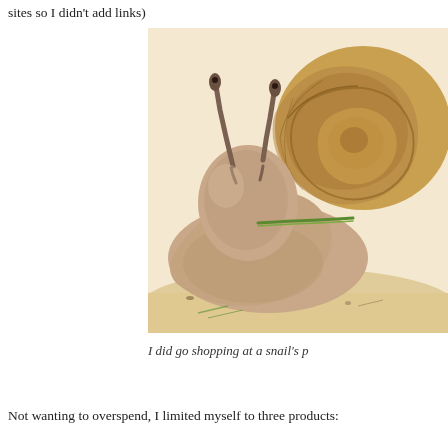sites so I didn't add links)
[Figure (photo): Close-up photograph of a garden snail with its spiral shell, two eye stalks extended, and a blade of green grass in its mouth, on a sandy surface.]
I did go shopping at a snail's p
Not wanting to overspend, I limited myself to three products: